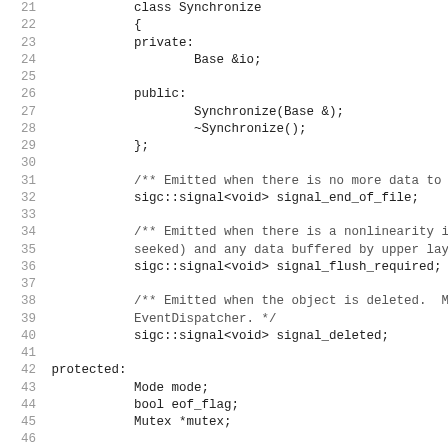Source code listing lines 21-52 showing C++ class definitions with Synchronize class, signals (signal_end_of_file, signal_flush_required, signal_deleted), protected and private members, and Base class declarations.